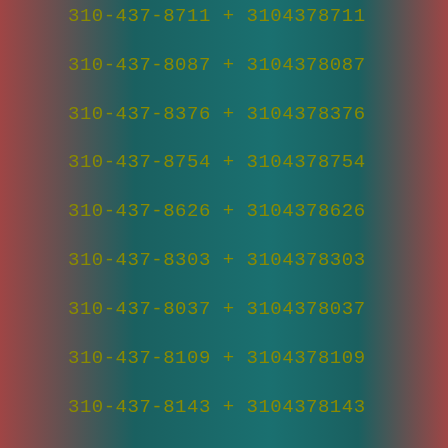310-437-8711 + 3104378711
310-437-8087 + 3104378087
310-437-8376 + 3104378376
310-437-8754 + 3104378754
310-437-8626 + 3104378626
310-437-8303 + 3104378303
310-437-8037 + 3104378037
310-437-8109 + 3104378109
310-437-8143 + 3104378143
310-437-8204 + 3104378204
310-437-8428 + 3104378428
310-437-8310 + 3104378310
310-437-8786 + 3104378786
310-437-8935 + 3104378935
310-437-8166 + 3104378166
310-437-8750 + 3104378750
310-437-8926 + 3104378926
310-437-8942 + 3104378942
310-437-8421 + 3104378421
310-437-8807 + 3104378807
310-437-8063 + 3104378063
310-437-8016 + 3104378016
310-437-8024 + 3104378024